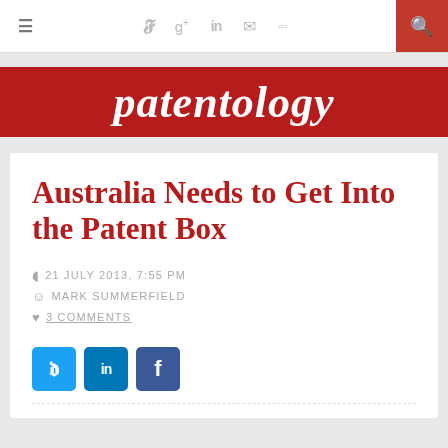≡  y  g+  in  ✉  )))  🔍
[Figure (logo): Patentology blog logo — white italic bold text on red background]
Australia Needs to Get Into the Patent Box
21 JULY 2013, 7:55 PM
MARK SUMMERFIELD
3 COMMENTS
[Figure (infographic): Social sharing buttons: Twitter (blue), LinkedIn (blue), Facebook (dark blue)]